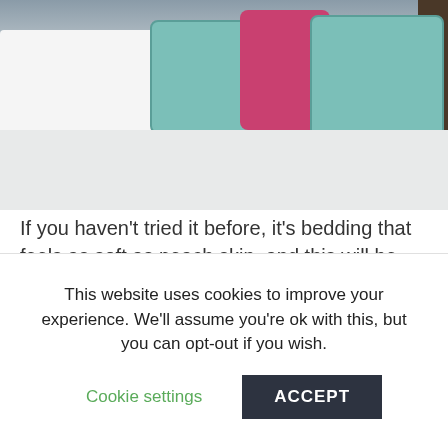[Figure (photo): Bedroom scene showing a neatly made bed with white sheets and pillows. Decorative pillows include teal/mint patterned cushions and a bright pink/magenta pillow arranged against a dark headboard.]
If you haven't tried it before, it's bedding that feels as soft as peach skin, and this will be the first six-piece set to feature as a Today's Special Value. The set comprises a duvet cover with a neat, buttoned fastening, a fitted sheet, two housewife pillowcases and two Oxford pillow shams. The sheet is plain but there is a very subtle, double-sided, embossed dot detail on all of the other pieces. It's quite hard to see the dots on the white sample, but I have taken a close-up photo so
This website uses cookies to improve your experience. We'll assume you're ok with this, but you can opt-out if you wish.
Cookie settings
ACCEPT